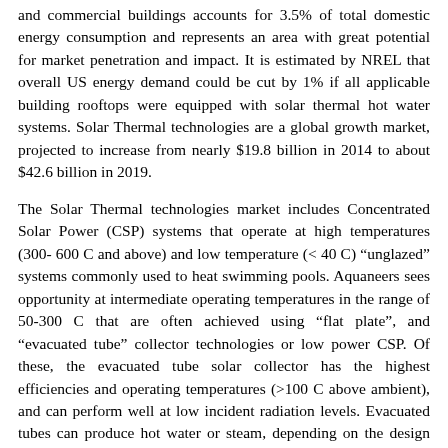and commercial buildings accounts for 3.5% of total domestic energy consumption and represents an area with great potential for market penetration and impact. It is estimated by NREL that overall US energy demand could be cut by 1% if all applicable building rooftops were equipped with solar thermal hot water systems. Solar Thermal technologies are a global growth market, projected to increase from nearly $19.8 billion in 2014 to about $42.6 billion in 2019.
The Solar Thermal technologies market includes Concentrated Solar Power (CSP) systems that operate at high temperatures (300-600 C and above) and low temperature (< 40 C) “unglazed” systems commonly used to heat swimming pools. Aquaneers sees opportunity at intermediate operating temperatures in the range of 50-300 C that are often achieved using “flat plate”, and “evacuated tube” collector technologies or low power CSP. Of these, the evacuated tube solar collector has the highest efficiencies and operating temperatures (>100 C above ambient), and can perform well at low incident radiation levels. Evacuated tubes can produce hot water or steam, depending on the design and configuration thus making it a good fit for Aquaneers’ novel technology. Aquaneers has designed an Evacuated tube solar device to work with its Plasmonic Ribbon as the transducer allowing for efficient hot water or steam generation using sunlight.